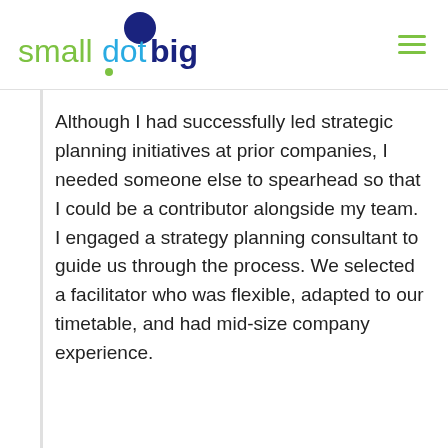smalldotbig
Although I had successfully led strategic planning initiatives at prior companies, I needed someone else to spearhead so that I could be a contributor alongside my team. I engaged a strategy planning consultant to guide us through the process. We selected a facilitator who was flexible, adapted to our timetable, and had mid-size company experience.